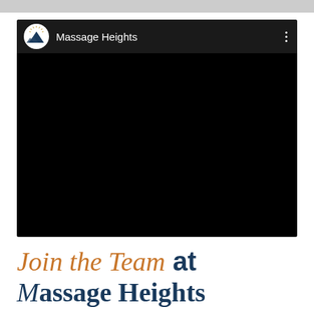[Figure (screenshot): Massage Heights YouTube channel video thumbnail — black video player area with channel logo and name 'Massage Heights' in the top bar, three-dot menu icon on the right]
Join the Team at Massage Heights